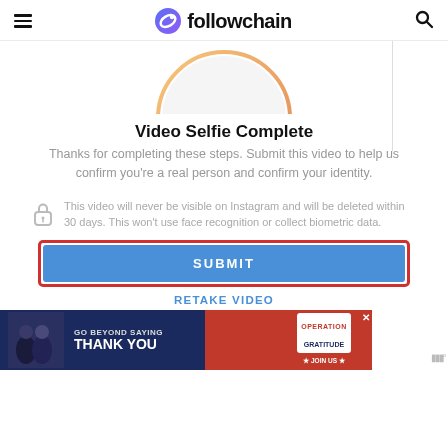followchain
[Figure (screenshot): Partial circular selfie verification UI element — top arc of a circle with orange/gold gradient border visible at the top of the content area]
Video Selfie Complete
Thanks for completing these steps. Submit this video to help us confirm you're a real person and confirm your identity.
This video will never be visible on Instagram and will be deleted within 30 days. This won't use face recognition or collect biometric data.
[Figure (screenshot): Blue SUBMIT button with red border highlight, and RETAKE VIDEO link below]
[Figure (infographic): Advertisement banner: GO BEYOND SAYING THANK YOU — Operation Gratitude JOIN US]